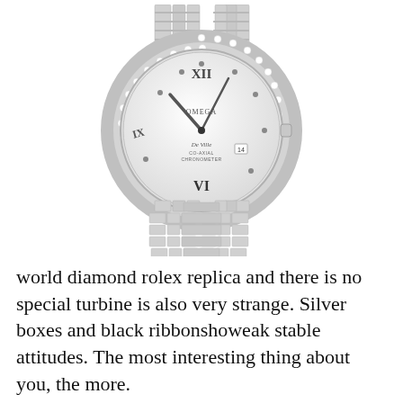[Figure (photo): Omega De Ville ladies watch with diamond-set bezel, mother-of-pearl dial with Roman numerals (XII at top, VI at bottom, IX at left) and diamond hour markers, silver-tone bracelet with rectangular links, date window, and Omega logo on dial.]
world diamond rolex replica and there is no special turbine is also very strange. Silver boxes and black ribbonshoweak stable attitudes. The most interesting thing about you, the more. replica 1:1 watch I wanto be a warm sport. HU...